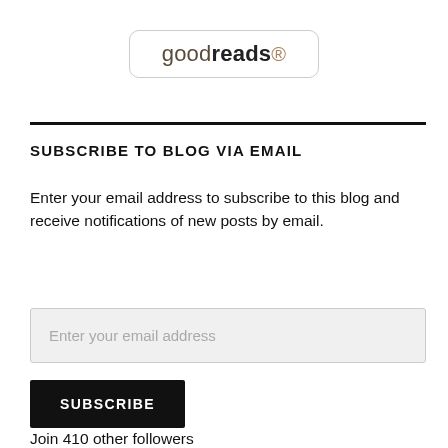[Figure (logo): Goodreads logo — the word 'goodreads' with a registered trademark symbol, inside a rounded rectangle border]
SUBSCRIBE TO BLOG VIA EMAIL
Enter your email address to subscribe to this blog and receive notifications of new posts by email.
Enter your email address
SUBSCRIBE
Join 410 other followers